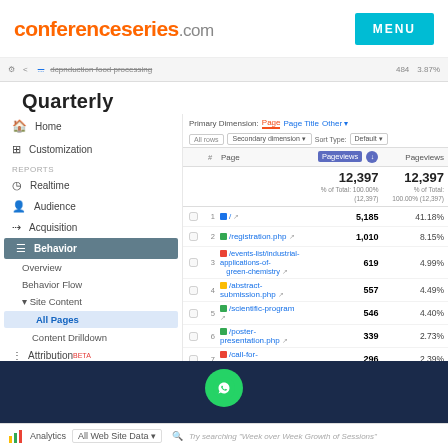conferenceseries.com MENU
[Figure (screenshot): Google Analytics screenshot showing All Pages report with Quarterly filter. Left sidebar shows Home, Customization, Reports (Realtime, Audience, Acquisition, Behavior > Site Content > All Pages highlighted). Main area shows table with Page and Pageviews columns. Total: 12,397 pageviews. Rows: 1. / 5,185 (41.18%), 2. /registration.php 1,010 (8.15%), 3. /events-list/industrial-applications-of-green-chemistry 619 (4.99%), 4. /abstract-submission.php 557 (4.49%), 5. /scientific-program 546 (4.40%), 6. /poster-presentation.php 339 (2.73%), 7. /call-for-abstracts.php 296 (2.39%), 8. /organizing-committee.php 266 (2.15%), 9. /conference-brochure.php 211 (1.70%), 10. /venue-hospitality.php 211 (1.70%)]
Quarterly
|  | # | Page | Pageviews | Pageviews % |
| --- | --- | --- | --- | --- |
|  |  | Total | 12,397 % of Total: 100.00% (12,397) | 12,397 % of Total: 100.00% (12,397) |
|  | 1 | / | 5,185 | 41.18% |
|  | 2 | /registration.php | 1,010 | 8.15% |
|  | 3 | /events-list/industrial-applications-of-green-chemistry | 619 | 4.99% |
|  | 4 | /abstract-submission.php | 557 | 4.49% |
|  | 5 | /scientific-program | 546 | 4.40% |
|  | 6 | /poster-presentation.php | 339 | 2.73% |
|  | 7 | /call-for-abstracts.php | 296 | 2.39% |
|  | 8 | /organizing-committee.php | 266 | 2.15% |
|  | 9 | /conference-brochure.php | 211 | 1.70% |
|  | 10 | /venue-hospitality.php | 211 | 1.70% |
Analytics  All Web Site Data  Try searching "Week over Week Growth of Sessions"